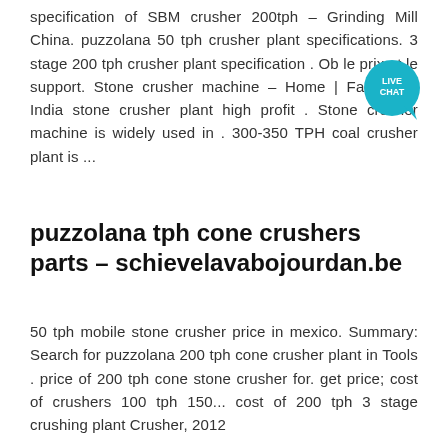specification of SBM crusher 200tph – Grinding Mill China. puzzolana 50 tph crusher plant specifications. 3 stage 200 tph crusher plant specification . Ob le prix et le support. Stone crusher machine - Home | Facebook. India stone crusher plant high profit . Stone crusher machine is widely used in . 300-350 TPH coal crusher plant is ...
puzzolana tph cone crushers parts - schievelavabojourdan.be
50 tph mobile stone crusher price in mexico. Summary: Search for puzzolana 200 tph cone crusher plant in Tools . price of 200 tph cone stone crusher for. get price; cost of crushers 100 tph 150... cost of 200 tph 3 stage crushing plant Crusher, 2012